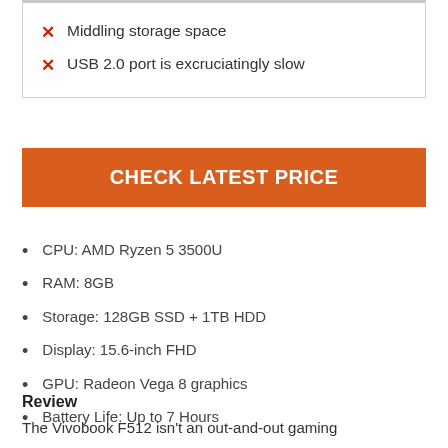✗ Middling storage space
✗ USB 2.0 port is excruciatingly slow
CHECK LATEST PRICE
CPU: AMD Ryzen 5 3500U
RAM: 8GB
Storage: 128GB SSD + 1TB HDD
Display: 15.6-inch FHD
GPU: Radeon Vega 8 graphics
Battery Life: Up to 7 Hours
Review
The Vivobook F512 isn't an out-and-out gaming